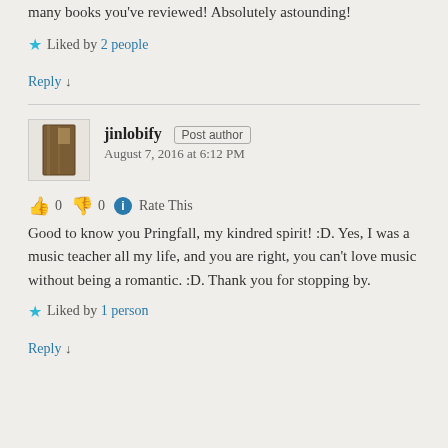many books you've reviewed! Absolutely astounding!
Liked by 2 people
Reply ↓
jinlobify Post author
August 7, 2016 at 6:12 PM
👍 0 👎 0 ℹ Rate This
Good to know you Pringfall, my kindred spirit! :D. Yes, I was a music teacher all my life, and you are right, you can't love music without being a romantic. :D. Thank you for stopping by.
Liked by 1 person
Reply ↓